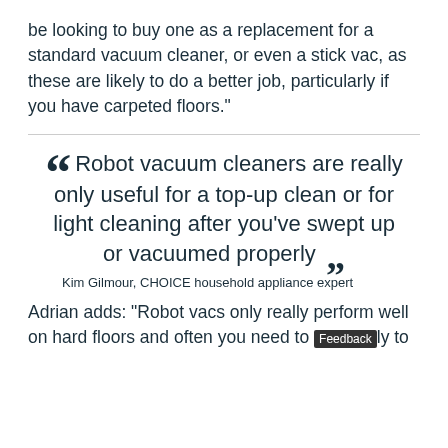be looking to buy one as a replacement for a standard vacuum cleaner, or even a stick vac, as these are likely to do a better job, particularly if you have carpeted floors."
“ Robot vacuum cleaners are really only useful for a top-up clean or for light cleaning after you've swept up or vacuumed properly ”
Kim Gilmour, CHOICE household appliance expert
Adrian adds: "Robot vacs only really perform well on hard floors and often you need to [partially obscured] ly to